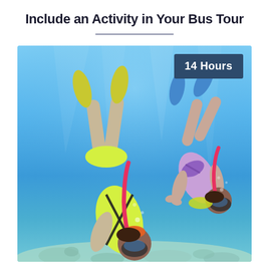Include an Activity in Your Bus Tour
[Figure (photo): Underwater photo of two snorkelers wearing fins and snorkeling gear swimming in clear blue tropical water, with a coral reef visible below. One snorkeler wears a yellow wetsuit top and the other wears a purple bikini. A '14 Hours' badge appears in the top right corner of the image.]